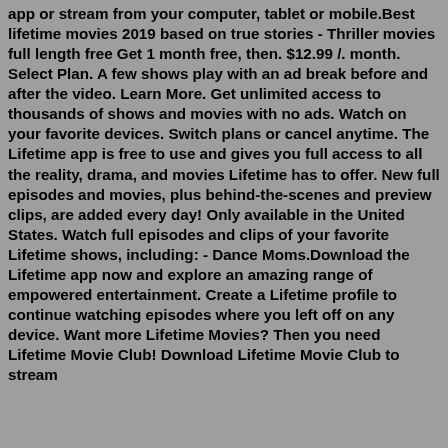app or stream from your computer, tablet or mobile.Best lifetime movies 2019 based on true stories - Thriller movies full length free Get 1 month free, then. $12.99 /. month. Select Plan. A few shows play with an ad break before and after the video. Learn More. Get unlimited access to thousands of shows and movies with no ads. Watch on your favorite devices. Switch plans or cancel anytime. The Lifetime app is free to use and gives you full access to all the reality, drama, and movies Lifetime has to offer. New full episodes and movies, plus behind-the-scenes and preview clips, are added every day! Only available in the United States. Watch full episodes and clips of your favorite Lifetime shows, including: - Dance Moms.Download the Lifetime app now and explore an amazing range of empowered entertainment. Create a Lifetime profile to continue watching episodes where you left off on any device. Want more Lifetime Movies? Then you need Lifetime Movie Club! Download Lifetime Movie Club to stream